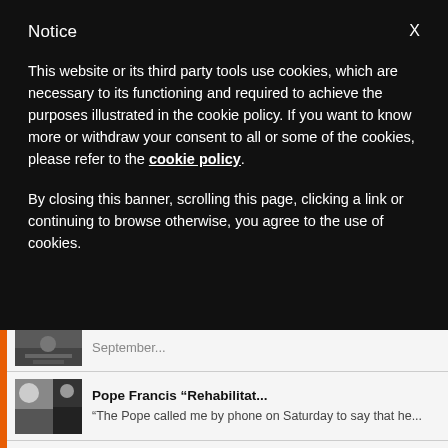Notice
This website or its third party tools use cookies, which are necessary to its functioning and required to achieve the purposes illustrated in the cookie policy. If you want to know more or withdraw your consent to all or some of the cookies, please refer to the cookie policy.
By closing this banner, scrolling this page, clicking a link or continuing to browse otherwise, you agree to the use of cookies.
[Figure (photo): Partial news item thumbnail showing a crowd scene]
September...
[Figure (photo): News thumbnail showing Pope Francis with a Cardinal]
Pope Francis “Rehabilitat...
“The Pope called me by phone on Saturday to say that he...
[Figure (photo): News thumbnail showing Pope Francis at a window]
Pope Francis at the Angel...
“Brothers and sisters, which side do we want to be on?...